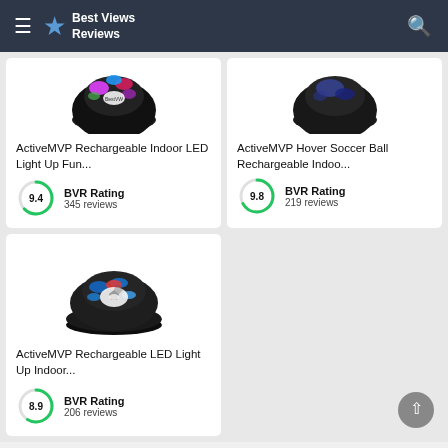Best Views Reviews
[Figure (screenshot): ActiveMVP Rechargeable Indoor LED Light Up Fun hover ball product image (cropped top)]
ActiveMVP Rechargeable Indoor LED Light Up Fun...
BVR Rating
345 reviews
9.4
[Figure (screenshot): ActiveMVP Hover Soccer Ball Rechargeable Indoor hover ball product image (cropped top)]
ActiveMVP Hover Soccer Ball Rechargeable Indoo...
BVR Rating
219 reviews
9.8
[Figure (screenshot): ActiveMVP Rechargeable LED Light Up Indoor hover ball product image]
ActiveMVP Rechargeable LED Light Up Indoor...
BVR Rating
206 reviews
8.9